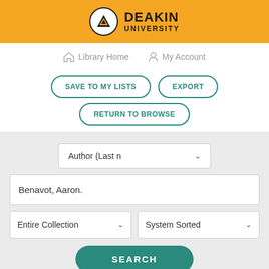[Figure (logo): Deakin University logo with orange header bar, white circle with shield icon, and bold DEAKIN UNIVERSITY text]
Library Home   My Account
SAVE TO MY LISTS
EXPORT
RETURN TO BROWSE
Author (Last n...
Benavot, Aaron.
Entire Collection
System Sorted
SEARCH